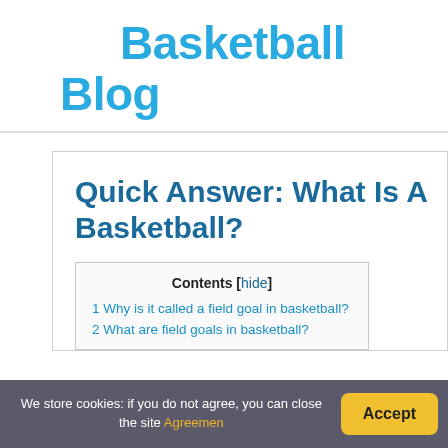Basketball Blog
Quick Answer: What Is A Basketball?
Contents [hide]
1 Why is it called a field goal in basketball?
2 What are field goals in basketball?
We store cookies: if you do not agree, you can close the site Agreemen